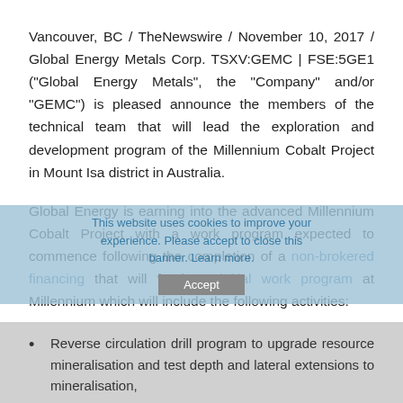Vancouver, BC / TheNewswire / November 10, 2017 / Global Energy Metals Corp. TSXV:GEMC | FSE:5GE1 ("Global Energy Metals", the "Company" and/or "GEMC") is pleased announce the members of the technical team that will lead the exploration and development program of the Millennium Cobalt Project in Mount Isa district in Australia.
Global Energy is earning into the advanced Millennium Cobalt Project with a work program expected to commence following the completion of a non-brokered financing that will fund an initial work program at Millennium which will include the following activities:
Reverse circulation drill program to upgrade resource mineralisation and test depth and lateral extensions to mineralisation,